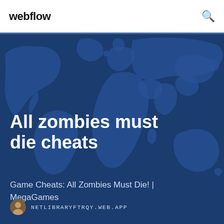webflow
[Figure (illustration): World map silhouette illustration in dark blue tones used as a hero background image]
All zombies must die cheats
Game Cheats: All Zombies Must Die! | MegaGames
NETLIBRARYFTRQY.WEB.APP